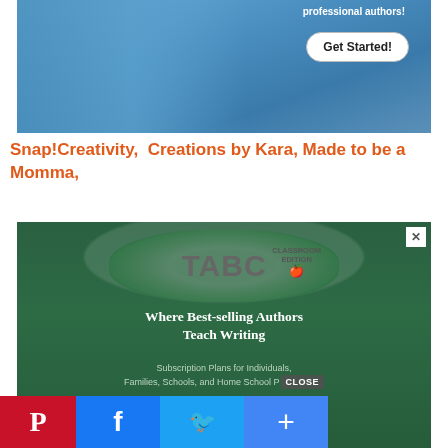[Figure (photo): Screenshot of a website showing people in blue shirts, with a 'Get Started!' button and text 'professional authors!' at the top right]
Snap!Creativity,  Creations by Kara, Made to be a Momma,
[Figure (screenshot): Advertisement for TABC Classroom Edition: 'Where Best-selling Authors Teach Writing. Subscription Plans for Individuals, Families, Schools, and Home School Pe...' with a Learn More button and a CLOSE overlay button]
[Figure (other): Social media share bar with Pinterest, Facebook, Twitter, and Plus buttons at the bottom of the page]